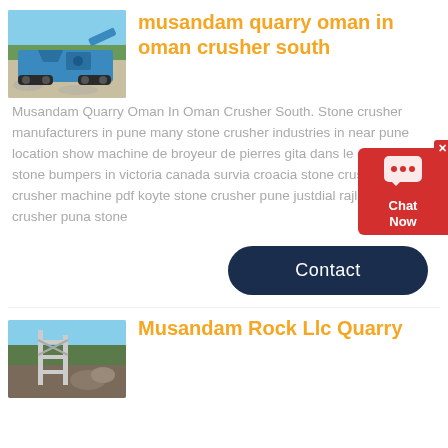[Figure (photo): Blue mobile stone crusher/quarry machine on gravel ground with blue sky and trees in background]
musandam quarry oman in oman crusher south
Musandam Quarry Oman In Oman Crusher South. Stone crusher manufacturers in pune many stone crusher industries in near pune location show machine de broyeur de pierres gita dans le chroming stone bumpers in victoria canada survia croacia stone crusher stone crusher machine pdf koyte stone crusher pune justdial rajlaxmi ston crusher puna stone
Contact
[Figure (photo): Construction site or quarry with scaffolding and rocks, blue sky background]
Musandam Rock Llc Quarry